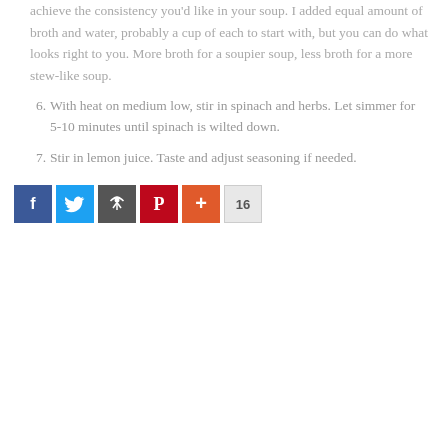achieve the consistency you'd like in your soup. I added equal amount of broth and water, probably a cup of each to start with, but you can do what looks right to you.  More broth for a soupier soup, less broth for a more stew-like soup.
6. With heat on medium low, stir in spinach and herbs.  Let simmer for 5-10 minutes until spinach is wilted down.
7. Stir in lemon juice.  Taste and adjust seasoning if needed.
[Figure (other): Social sharing buttons: Facebook (blue), Twitter (light blue), share icon (dark gray), Pinterest (red), plus/more (orange-red), and a count badge showing 16]